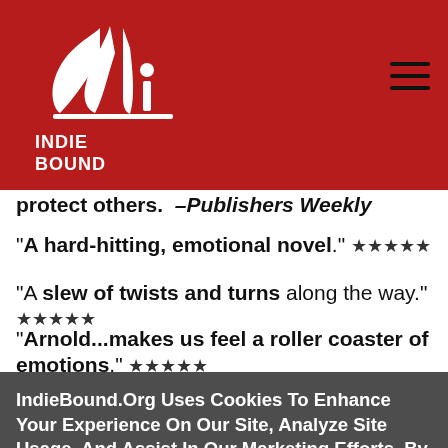[Figure (logo): IndieBound logo: white stylized book/hand graphic on red background with INDIEBOUND text below]
protect others.  –Publishers Weekly
"A hard-hitting, emotional novel." ★★★★★
"A slew of twists and turns along the way." ★★★★★
"Arnold...makes us feel a roller coaster of emotions." ★★★★★
IndieBound.Org Uses Cookies To Enhance Your Experience On Our Site, Analyze Site Usage, And Assist In Our Marketing Efforts. By Clicking Accept, You Agree To The Storing Of Cookies On Your Device. View Our Cookie Policy.
Give me more info
Accept all Cookies